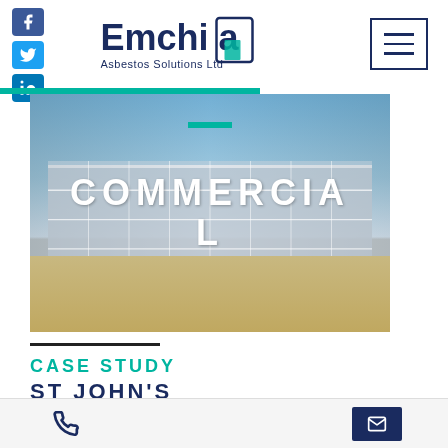[Figure (logo): Emchia Asbestos Solutions Ltd logo with social media icons (Facebook, Twitter, LinkedIn) and hamburger menu]
[Figure (photo): Commercial building exterior photo with large white text overlay reading COMMERCIAL]
CASE STUDY
ST JOHN'S SHOPPING CENTRE
Phone and email contact icons